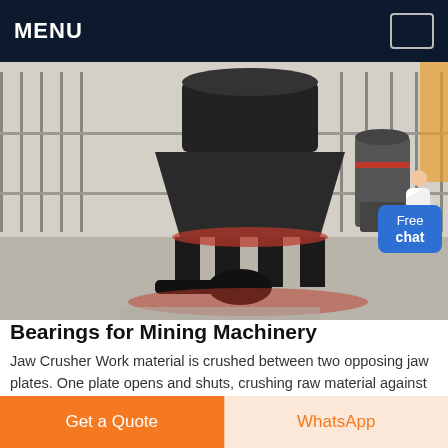MENU
[Figure (photo): Large industrial cone crusher / mining machinery displayed in a factory showroom with glass walls. Black heavy machinery with red accents on a platform, additional machinery visible in background.]
Bearings for Mining Machinery
Jaw Crusher Work material is crushed between two opposing jaw plates. One plate opens and shuts, crushing raw material against the stationary jaw plate. Cone Crusher Material is fed into the crusher cavity and
Get a Quote
WhatsApp